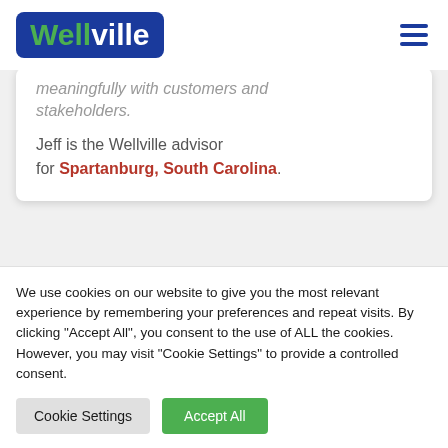Wellville
...meaningfully with customers and stakeholders.
Jeff is the Wellville advisor for Spartanburg, South Carolina.
We use cookies on our website to give you the most relevant experience by remembering your preferences and repeat visits. By clicking "Accept All", you consent to the use of ALL the cookies. However, you may visit "Cookie Settings" to provide a controlled consent.